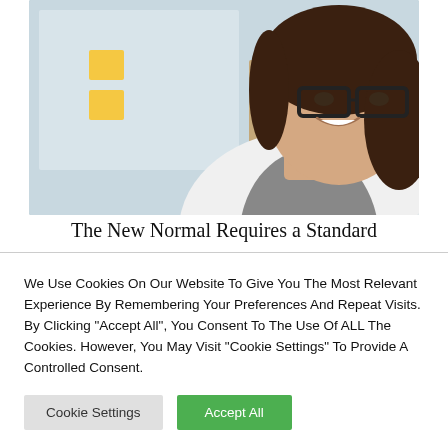[Figure (photo): A smiling woman with glasses and long dark hair wearing a white blazer over a grey top, photographed in an office environment with a whiteboard and corkboard in the background.]
The New Normal Requires a Standard
We Use Cookies On Our Website To Give You The Most Relevant Experience By Remembering Your Preferences And Repeat Visits. By Clicking “Accept All”, You Consent To The Use Of ALL The Cookies. However, You May Visit “Cookie Settings” To Provide A Controlled Consent.
Cookie Settings | Accept All